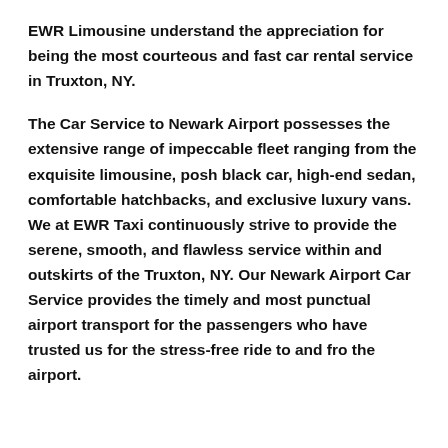EWR Limousine understand the appreciation for being the most courteous and fast car rental service in Truxton, NY.
The Car Service to Newark Airport possesses the extensive range of impeccable fleet ranging from the exquisite limousine, posh black car, high-end sedan, comfortable hatchbacks, and exclusive luxury vans. We at EWR Taxi continuously strive to provide the serene, smooth, and flawless service within and outskirts of the Truxton, NY. Our Newark Airport Car Service provides the timely and most punctual airport transport for the passengers who have trusted us for the stress-free ride to and fro the airport.